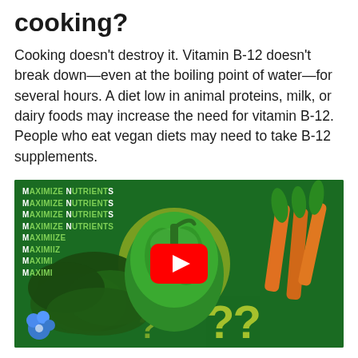cooking?
Cooking doesn't destroy it. Vitamin B-12 doesn't break down—even at the boiling point of water—for several hours. A diet low in animal proteins, milk, or dairy foods may increase the need for vitamin B-12. People who eat vegan diets may need to take B-12 supplements.
[Figure (screenshot): YouTube video thumbnail showing vegetables (green bell pepper, spinach, carrots) on a dark green background with repeated text 'MAXIMIZE NUTRIENTS' and question marks, featuring a YouTube play button in the center. Logos visible at bottom corners.]